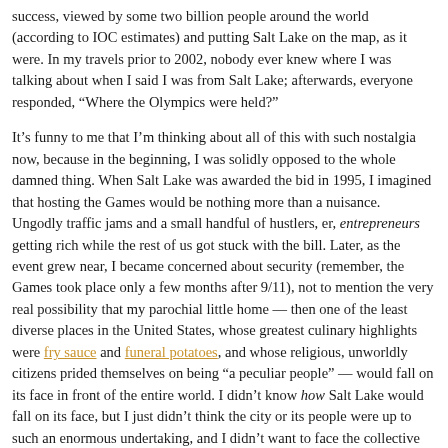success, viewed by some two billion people around the world (according to IOC estimates) and putting Salt Lake on the map, as it were. In my travels prior to 2002, nobody ever knew where I was talking about when I said I was from Salt Lake; afterwards, everyone responded, “Where the Olympics were held?”
It’s funny to me that I’m thinking about all of this with such nostalgia now, because in the beginning, I was solidly opposed to the whole damned thing. When Salt Lake was awarded the bid in 1995, I imagined that hosting the Games would be nothing more than a nuisance. Ungodly traffic jams and a small handful of hustlers, er, entrepreneurs getting rich while the rest of us got stuck with the bill. Later, as the event grew near, I became concerned about security (remember, the Games took place only a few months after 9/11), not to mention the very real possibility that my parochial little home — then one of the least diverse places in the United States, whose greatest culinary highlights were fry sauce and funeral potatoes, and whose religious, unworldly citizens prided themselves on being “a peculiar people” — would fall on its face in front of the entire world. I didn’t know how Salt Lake would fall on its face, but I just didn’t think the city or its people were up to such an enormous undertaking, and I didn’t want to face the collective humiliation that certainly awaited. Or the traffic. I hadn’t forgotten the traffic. To be honest, I gave serious thought to planning a vacation to coincide with those two weeks.